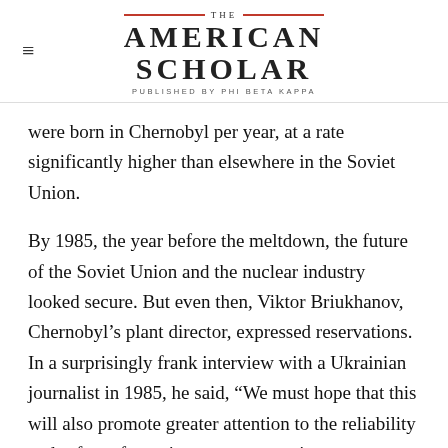THE AMERICAN SCHOLAR — PUBLISHED BY PHI BETA KAPPA
were born in Chernobyl per year, at a rate significantly higher than elsewhere in the Soviet Union.
By 1985, the year before the meltdown, the future of the Soviet Union and the nuclear industry looked secure. But even then, Viktor Briukhanov, Chernobyl's plant director, expressed reservations. In a surprisingly frank interview with a Ukrainian journalist in 1985, he said, “We must hope that this will also promote greater attention to the reliability and safety of atomic energy generation at our Chernobyl station in particular. This